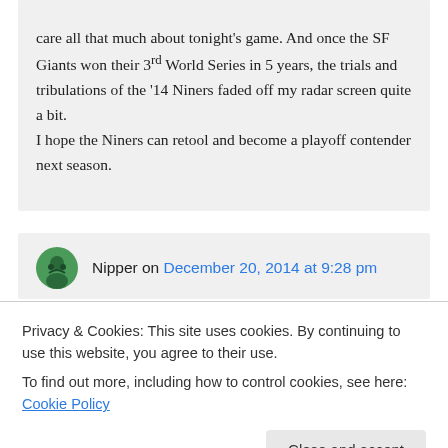care all that much about tonight's game. And once the SF Giants won their 3rd World Series in 5 years, the trials and tribulations of the '14 Niners faded off my radar screen quite a bit. I hope the Niners can retool and become a playoff contender next season.
Nipper on December 20, 2014 at 9:28 pm
Privacy & Cookies: This site uses cookies. By continuing to use this website, you agree to their use.
To find out more, including how to control cookies, see here: Cookie Policy
Close and accept
Regarding the E...